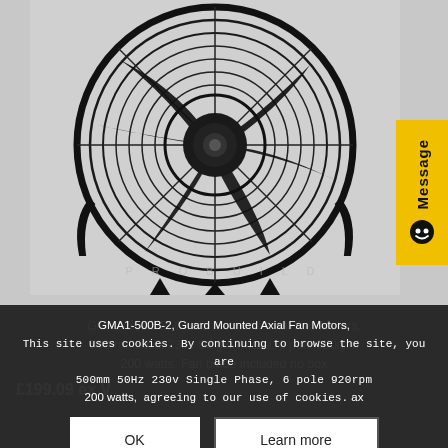[Figure (photo): Guard mounted axial fan motor viewed from front, showing large circular wire guard, black fan blades, central motor hub, and mounting feet at bottom. White/grey background.]
GMA1-500B-2, Guard Mounted Axial Fan Motors, 500mm 50Hz 230v Single Phase, 6 pole 920rpm 200 watts, Fan blade included no box
£199.09 ex V
This site uses cookies. By continuing to browse the site, you are agreeing to our use of cookies.